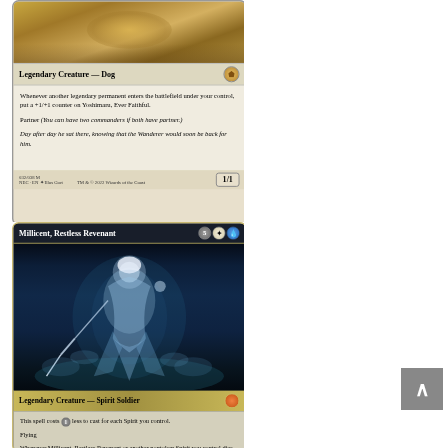[Figure (illustration): Magic: The Gathering card - Yoshimaru, Ever Faithful. Legendary Creature - Dog. Shows golden/warm toned art of a dog. Card text: Whenever another legendary permanent enters the battlefield under your control, put a +1/+1 counter on Yoshimaru, Ever Faithful. Partner (You can have two commanders if both have partner.) Flavor text: Day after day he sat there, knowing that the Wanderer would soon be back for him. Power/Toughness: 1/1. 032/038 M NEC EN illus Gort TM & C 2022 Wizards of the Coast]
[Figure (illustration): Magic: The Gathering card - Millicent, Restless Revenant. Cost: 5 white blue. Legendary Creature - Spirit Soldier. Shows ghostly female figure with sword in dark blue/teal tones. Card text: This spell costs 1 less to cast for each Spirit you control. Flying. Whenever Millicent, Restless Revenant or another nontoken Spirit you control dies or deals combat damage to a player, create a 1/1 white Spirit creature token.]